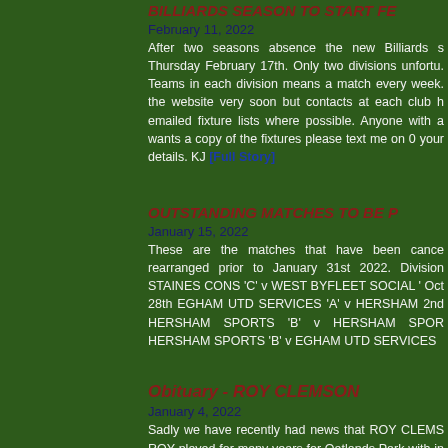BILLIARDS SEASON TO START FE...
February 11, 2022
After two seasons absence the new Billiards s... Thursday February 17th. Only two divisions unfortu... Teams in each division means a match every week. the website very soon but contacts at each club h... emailed fixture lists where possible. Anyone with a... wants a copy of the fixtures please text me on 0... your details. KJ [Full Story]
OUTSTANDING MATCHES TO BE P...
January 15, 2022
These are the matches that have been cance... rearranged prior to January 31st 2022. Division ... STAINES CONS 'C' v WEST BYFLEET SOCIAL '... Oct 28th EGHAM UTD SERVICES 'A' v HERSHAM... 2nd HERSHAM SPORTS 'B' v HERSHAM SPOR... HERSHAM SPORTS 'B' v EGHAM UTD SERVICES...
Obituary - ROY CLEMSON
January 4, 2022
Sadly we have recently had news that ROY CLEMS... ROY played for many years for Oatlands Park with... in January 2017. He continued to regularly play dur... Haw Social Club mainly with Michael Eastmond...